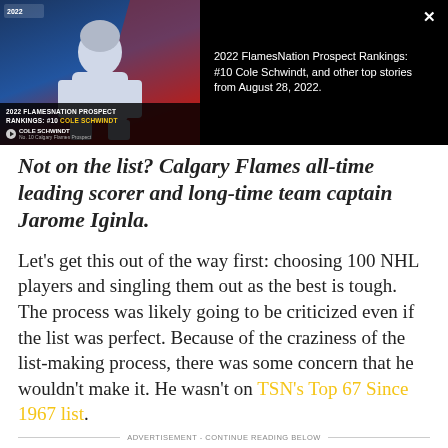[Figure (screenshot): Popup overlay showing a video thumbnail of Cole Schwindt in hockey gear on a dark background with red accents, labeled '2022 FLAMESNATION PROSPECT RANKINGS: #10 COLE SCHWINDT' with a close button (X) and article title text: '2022 FlamesNation Prospect Rankings: #10 Cole Schwindt, and other top stories from August 28, 2022.']
Not on the list? Calgary Flames all-time leading scorer and long-time team captain Jarome Iginla.
Let's get this out of the way first: choosing 100 NHL players and singling them out as the best is tough. The process was likely going to be criticized even if the list was perfect. Because of the craziness of the list-making process, there was some concern that he wouldn't make it. He wasn't on TSN's Top 67 Since 1967 list.
ADVERTISEMENT - CONTINUE READING BELOW